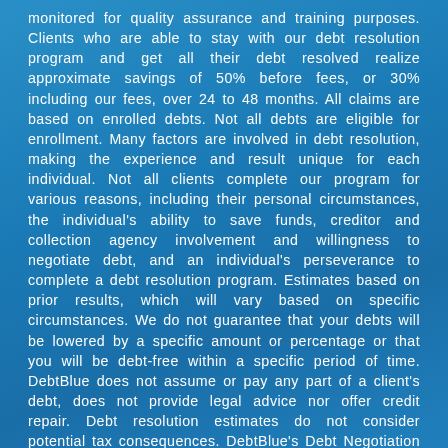monitored for quality assurance and training purposes. Clients who are able to stay with our debt resolution program and get all their debt resolved realize approximate savings of 50% before fees, or 30% including our fees, over 24 to 48 months. All claims are based on enrolled debts. Not all debts are eligible for enrollment. Many factors are involved in debt resolution, making the experience and result unique for each individual. Not all clients complete our program for various reasons, including their personal circumstances, the individual's ability to save funds, creditor and collection agency involvement and willingness to negotiate debt, and an individual's perseverance to complete a debt resolution program. Estimates based on prior results, which will vary based on specific circumstances. We do not guarantee that your debts will be lowered by a specific amount or percentage or that you will be debt-free within a specific period of time. DebtBlue does not assume or pay any part of a client's debt, does not provide legal advice nor offer credit repair. Debt resolution estimates do not consider potential tax consequences. DebtBlue's Debt Negotiation Program is not available in all states. Please talk with us to ensure you understand our contract and contract terms before enrolling. By using this site, you acknowledge that you have read and